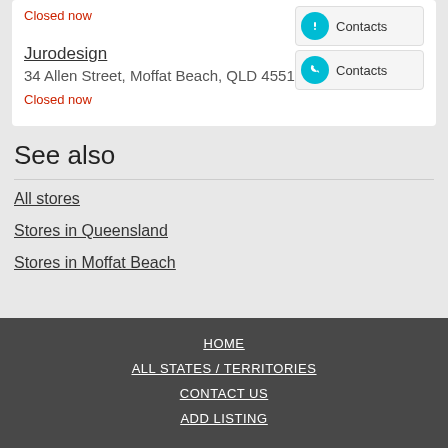Closed now
Jurodesign
34 Allen Street, Moffat Beach, QLD 4551
Contacts
Closed now
See also
All stores
Stores in Queensland
Stores in Moffat Beach
HOME | ALL STATES / TERRITORIES | CONTACT US | ADD LISTING